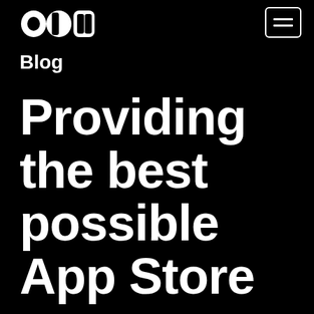[Figure (logo): White stylized logo mark (abstract interlocking shapes) on black background]
[Figure (other): Hamburger menu button (three horizontal lines) in a rounded rectangle border, white on black]
Blog
Providing the best possible App Store